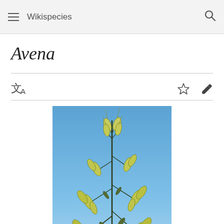Wikispecies
Avena
[Figure (photo): Photograph of an oat plant (Avena) with green seed heads against a blue sky background]